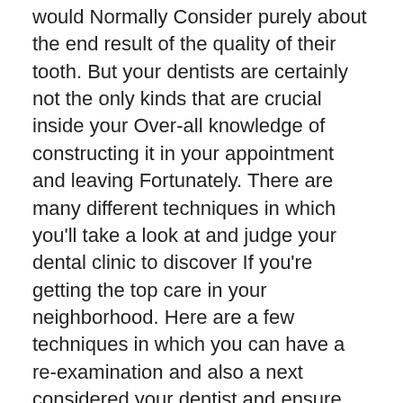would Normally Consider purely about the end result of the quality of their tooth. But your dentists are certainly not the only kinds that are crucial inside your Over-all knowledge of constructing it in your appointment and leaving Fortunately. There are many different techniques in which you'll take a look at and judge your dental clinic to discover If you're getting the top care in your neighborhood. Here are a few techniques in which you can have a re-examination and also a next considered your dentist and ensure you are receiving the caliber of care which you want.
For evident motives, the standard of the function provided directly through the dentists is of utmost relevance inside your choice to attend a particular exercise. But take into consideration what it requires to receive to that appointment. Ahead of even driving towards the places of work, you should make an